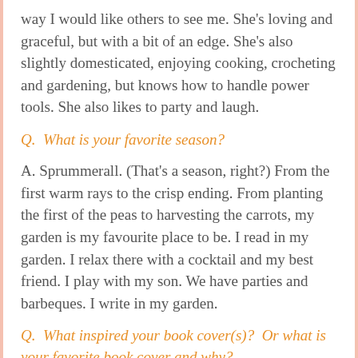way I would like others to see me. She's loving and graceful, but with a bit of an edge. She's also slightly domesticated, enjoying cooking, crocheting and gardening, but knows how to handle power tools. She also likes to party and laugh.
Q.  What is your favorite season?
A. Sprummerall. (That's a season, right?) From the first warm rays to the crisp ending. From planting the first of the peas to harvesting the carrots, my garden is my favourite place to be. I read in my garden. I relax there with a cocktail and my best friend. I play with my son. We have parties and barbeques. I write in my garden.
Q.  What inspired your book cover(s)?  Or what is your favorite book cover and why?